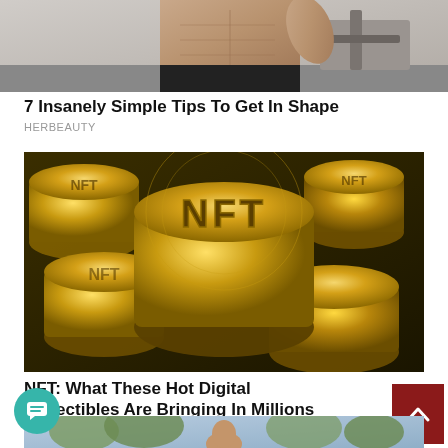[Figure (photo): Cropped photo of a person's torso showing abs in a gym setting]
7 Insanely Simple Tips To Get In Shape
HERBEAUTY
[Figure (photo): Pile of gold NFT coins with NFT text embossed on them]
NFT: What These Hot Digital Collectibles Are Bringing In Millions
INBERRIES
[Figure (photo): Partial photo at bottom of page, person outdoors]